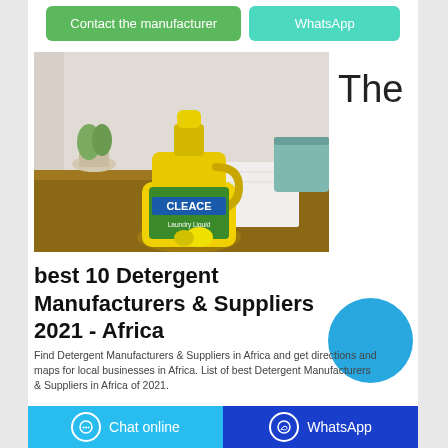Contact the manufacturer | WhatsApp
[Figure (photo): Yellow laundry detergent bottle (Cleace brand) on a wooden table with white towels and a plant in the background]
The
best 10 Detergent Manufacturers & Suppliers 2021 - Africa
Find Detergent Manufacturers & Suppliers in Africa and get directions and maps for local businesses in Africa. List of best Detergent Manufacturers & Suppliers in Africa of 2021.
Chat online | WhatsApp